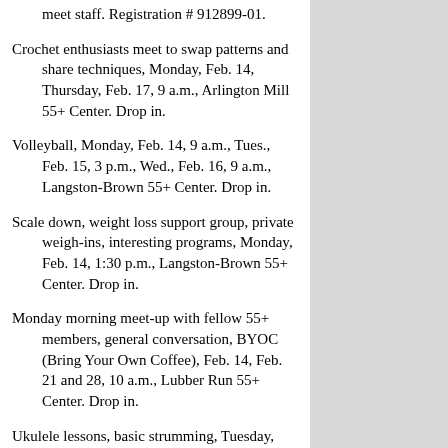meet staff. Registration # 912899-01.
Crochet enthusiasts meet to swap patterns and share techniques, Monday, Feb. 14, Thursday, Feb. 17, 9 a.m., Arlington Mill 55+ Center. Drop in.
Volleyball, Monday, Feb. 14, 9 a.m., Tues., Feb. 15, 3 p.m., Wed., Feb. 16, 9 a.m., Langston-Brown 55+ Center. Drop in.
Scale down, weight loss support group, private weigh-ins, interesting programs, Monday, Feb. 14, 1:30 p.m., Langston-Brown 55+ Center. Drop in.
Monday morning meet-up with fellow 55+ members, general conversation, BYOC (Bring Your Own Coffee), Feb. 14, Feb. 21 and 28, 10 a.m., Lubber Run 55+ Center. Drop in.
Ukulele lessons, basic strumming, Tuesday, Feb. 15, 4:30 p.m., Arlington Mill 55+